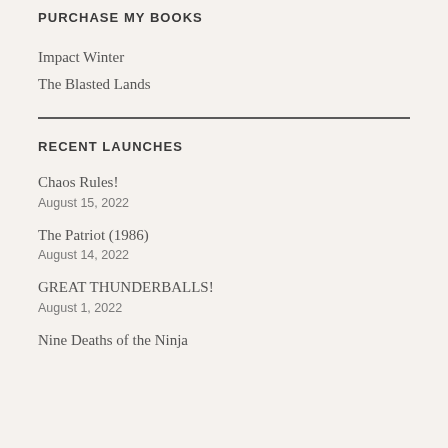PURCHASE MY BOOKS
Impact Winter
The Blasted Lands
RECENT LAUNCHES
Chaos Rules!
August 15, 2022
The Patriot (1986)
August 14, 2022
GREAT THUNDERBALLS!
August 1, 2022
Nine Deaths of the Ninja